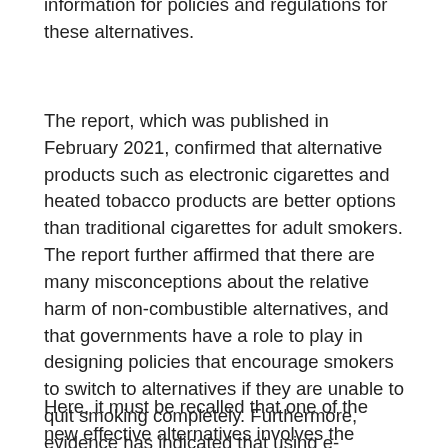information for policies and regulations for these alternatives.
The report, which was published in February 2021, confirmed that alternative products such as electronic cigarettes and heated tobacco products are better options than traditional cigarettes for adult smokers. The report further affirmed that there are many misconceptions about the relative harm of non-combustible alternatives, and that governments have a role to play in designing policies that encourage smokers to switch to alternatives if they are unable to quit smoking completely. Furthermore, evidence has indicated that using e-cigarettes (vaping) is a better way to stop smoking than nicotine replacement therapy.
Here, it must be recalled that one of the new effective alternatives involves the